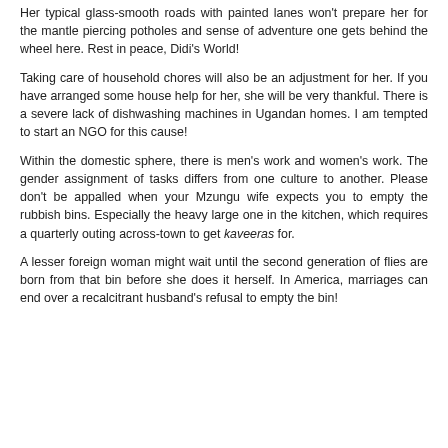Her typical glass-smooth roads with painted lanes won't prepare her for the mantle piercing potholes and sense of adventure one gets behind the wheel here. Rest in peace, Didi's World!
Taking care of household chores will also be an adjustment for her. If you have arranged some house help for her, she will be very thankful. There is a severe lack of dishwashing machines in Ugandan homes. I am tempted to start an NGO for this cause!
Within the domestic sphere, there is men's work and women's work. The gender assignment of tasks differs from one culture to another. Please don't be appalled when your Mzungu wife expects you to empty the rubbish bins. Especially the heavy large one in the kitchen, which requires a quarterly outing across-town to get kaveeras for.
A lesser foreign woman might wait until the second generation of flies are born from that bin before she does it herself. In America, marriages can end over a recalcitrant husband's refusal to empty the bin!